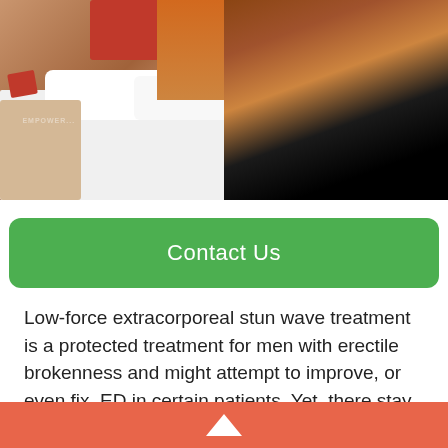[Figure (photo): A couple in a bedroom — a woman in a red top and a shirtless man sitting on a bed, appearing distressed. A nightstand with a phone is visible on the left.]
Contact Us
Low-force extracorporeal stun wave treatment is a protected treatment for men with erectile brokenness and might attempt to improve, or even fix, ED in certain patients. Yet, there stay
▲